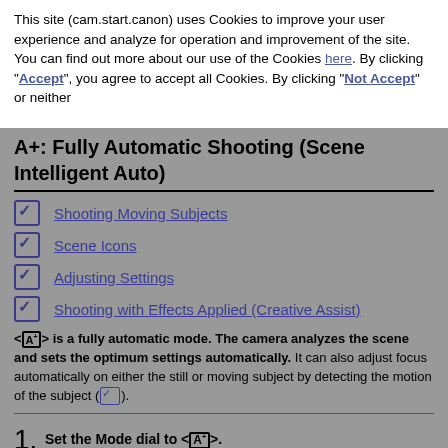This site (cam.start.canon) uses Cookies to improve your user experience and analyze for operation and improvement of the site. You can find out more about our use of the Cookies here. By clicking "Accept", you agree to accept all Cookies. By clicking "Not Accept" or neither
A+: Fully Automatic Shooting (Scene Intelligent Auto)
Shooting Moving Subjects
Scene Icons
Adjusting Settings
Shooting with Effects Applied (Creative Assist)
< [A+] > is a fully automatic mode. The camera analyzes the scene and sets the optimum settings automatically. It can also adjust focus automatically on either the still or moving subject by detecting the motion of the subject ([icon]).
1. Set the Mode dial to < [A+] >.